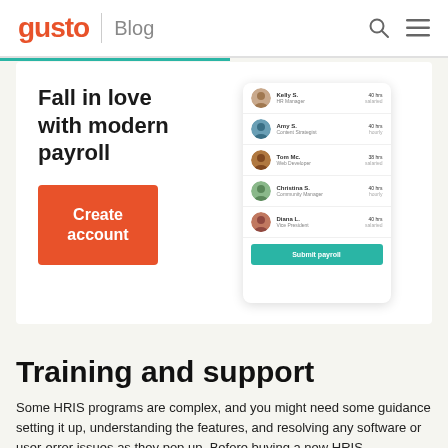gusto | Blog
[Figure (screenshot): Gusto payroll app promotional banner with headline 'Fall in love with modern payroll', a Create account button, and a screenshot of the Gusto payroll app interface showing employee list and Submit payroll button]
Training and support
Some HRIS programs are complex, and you might need some guidance setting it up, understanding the features, and resolving any software or user-error issues as they pop up. Before buying a new HRIS